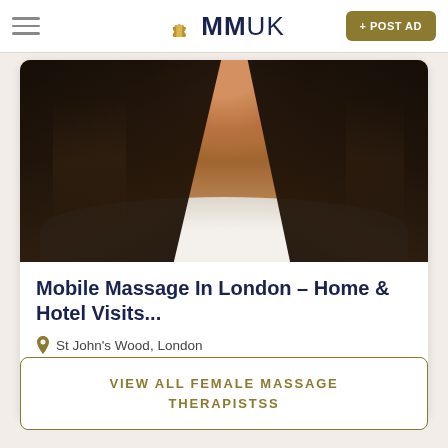MMUK — + POST AD
[Figure (photo): Woman with long black hair in white robe/shirt, cropped portrait photo]
Mobile Massage In London – Home & Hotel Visits...
St John's Wood, London
Offsite
From £65
VIEW ALL FEMALE MASSAGE THERAPISTSS